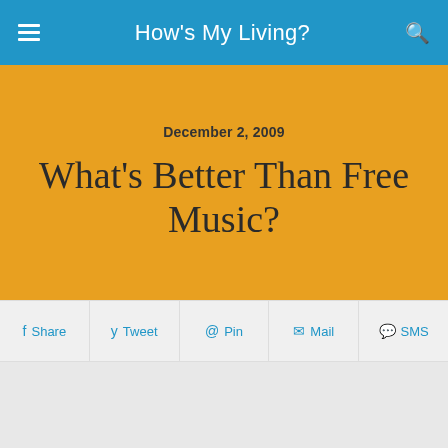How's My Living?
December 2, 2009
What's Better Than Free Music?
Share | Tweet | Pin | Mail | SMS
[Figure (illustration): Album art or music-related illustration showing stylized figures/legs from waist down against vertical stripe background in teal and dark blue tones, with text 'kid, you'll']